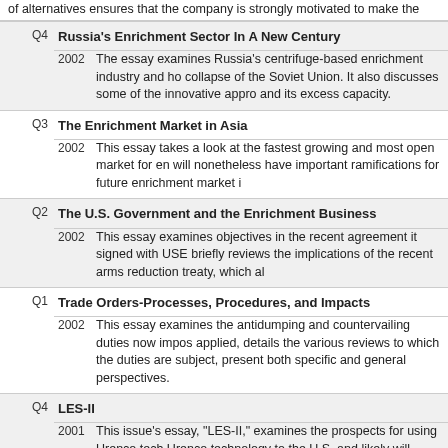of alternatives ensures that the company is strongly motivated to make the
Q4 2002 Russia's Enrichment Sector In A New Century — The essay examines Russia's centrifuge-based enrichment industry and how collapse of the Soviet Union. It also discusses some of the innovative approaches and its excess capacity.
Q3 2002 The Enrichment Market in Asia — This essay takes a look at the fastest growing and most open market for enrichment, will nonetheless have important ramifications for future enrichment market.
Q2 2002 The U.S. Government and the Enrichment Business — This essay examines objectives in the recent agreement it signed with USEC, briefly reviews the implications of the recent arms reduction treaty, which also.
Q1 2002 Trade Orders-Processes, Procedures, and Impacts — This essay examines the antidumping and countervailing duties now imposed, applied, details the various reviews to which the duties are subject, presents both specific and general perspectives.
Q4 2001 LES-II — This issue's essay, "LES-II," examines the prospects for using Urenco technology to the U.S. and likely will serve as a model for a second, and regulatory climate existing during that earlier effort and now are present, other considerations are also addressed.
Q3 2001 U.S. Centrifuge Program — This essay examines the potential revival of the U.S. centrifuge program, complete history of the program is presented as background to this discussion.
Q2 Who's in Control?